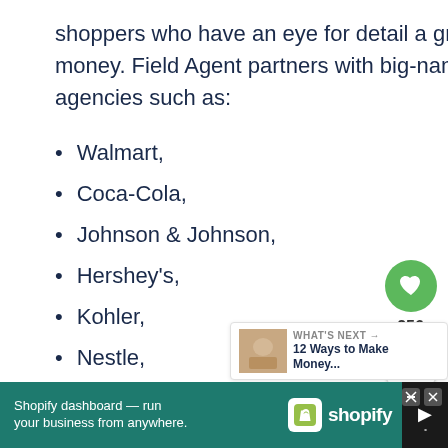shoppers who have an eye for detail a great opportunity to make money. Field Agent partners with big-name brands, retailers, and agencies such as:
Walmart,
Coca-Cola,
Johnson & Johnson,
Hershey's,
Kohler,
Nestle,
and Tyson.
[Figure (infographic): Social sharing sidebar with heart/like button showing 256 likes and a share button]
[Figure (infographic): What's Next promo box: '12 Ways to Make Money...' with thumbnail image]
[Figure (infographic): Shopify advertisement banner: 'Shopify dashboard — run your business from anywhere.' with Shopify logo]